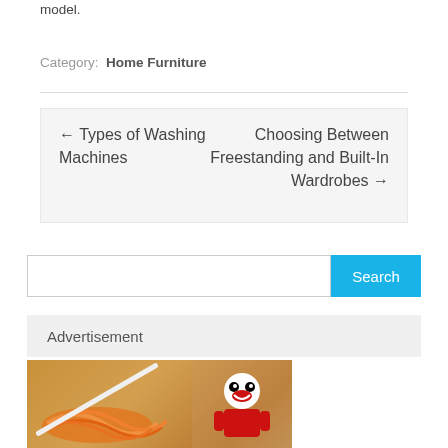model.
Category: Home Furniture
← Types of Washing Machines
Choosing Between Freestanding and Built-In Wardrobes →
Search
Advertisement
[Figure (photo): Advertisement image showing noodles on chopsticks with a mascot character in the background]